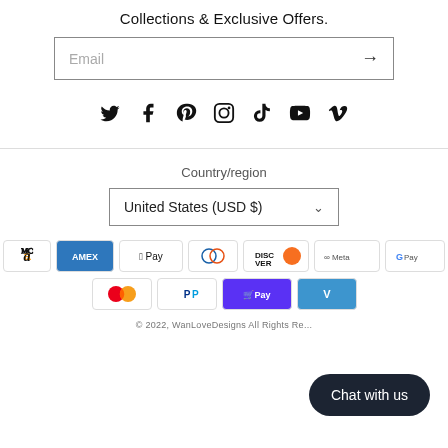Collections & Exclusive Offers.
Email
[Figure (infographic): Row of 7 social media icons: Twitter, Facebook, Pinterest, Instagram, TikTok, YouTube, Vimeo]
Country/region
United States (USD $)
[Figure (infographic): Payment method badges: Amazon, Amex, Apple Pay, Diners Club, Discover, Meta Pay, Google Pay, Mastercard, PayPal, Shop Pay, Venmo]
© 2022, WanLoveDesigns All Rights Re...
Chat with us